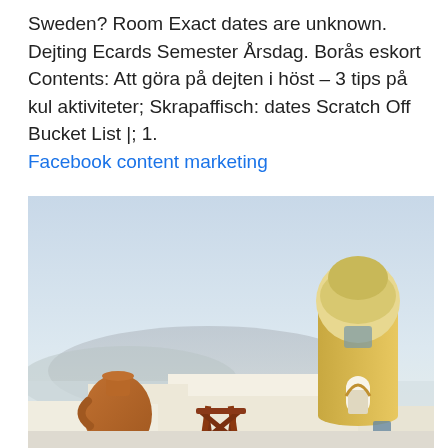Sweden? Room Exact dates are unknown. Dejting Ecards Semester Årsdag. Borås eskort Contents: Att göra på dejten i höst – 3 tips på kul aktiviteter; Skrapaffisch: dates Scratch Off Bucket List |; 1. Facebook content marketing
[Figure (photo): A sunny Mediterranean scene (Santorini-style architecture) showing a round white-and-yellow tower building with a domed roof, an arched doorway, a terracotta clay pot/vase on the left, wooden railing/chair in the center, white flat-roofed buildings, and hazy blue-grey mountains in the background under a light blue sky.]